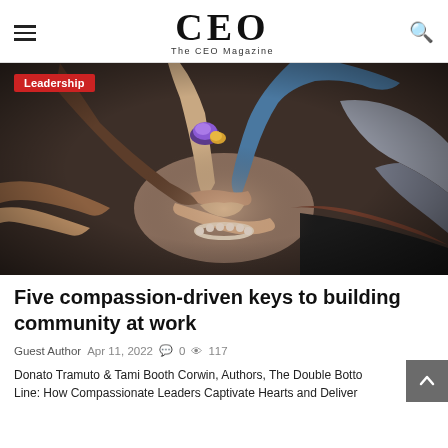CEO — The CEO Magazine
[Figure (photo): Multiple diverse hands stacked together in a team huddle gesture, viewed from above. A red 'Leadership' tag appears in the top-left corner of the image.]
Five compassion-driven keys to building community at work
Guest Author  Apr 11, 2022  0  117
Donato Tramuto & Tami Booth Corwin, Authors, The Double Bottom Line: How Compassionate Leaders Captivate Hearts and Deliver